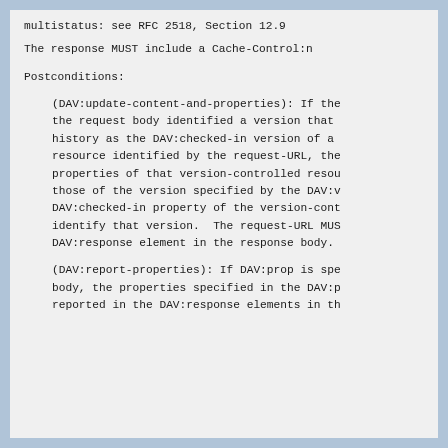multistatus: see RFC 2518, Section 12.9
The response MUST include a Cache-Control:n
Postconditions:
(DAV:update-content-and-properties): If the request body identified a version that history as the DAV:checked-in version of a resource identified by the request-URL, the properties of that version-controlled resou those of the version specified by the DAV:v DAV:checked-in property of the version-cont identify that version.  The request-URL MUS DAV:response element in the response body.
(DAV:report-properties): If DAV:prop is spe body, the properties specified in the DAV:p reported in the DAV:response elements in th